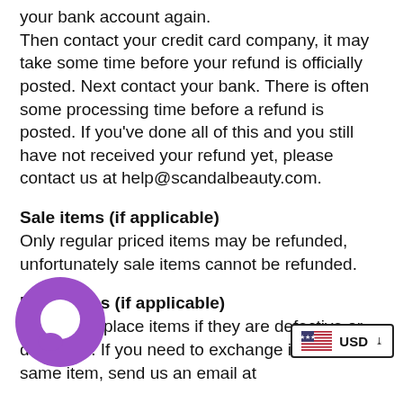your bank account again. Then contact your credit card company, it may take some time before your refund is officially posted. Next contact your bank. There is often some processing time before a refund is posted. If you've done all of this and you still have not received your refund yet, please contact us at help@scandalbeauty.com.
Sale items (if applicable)
Only regular priced items may be refunded, unfortunately sale items cannot be refunded.
Exchanges (if applicable)
We replace items if they are defective or damaged. If you need to exchange it for the same item, send us an email at